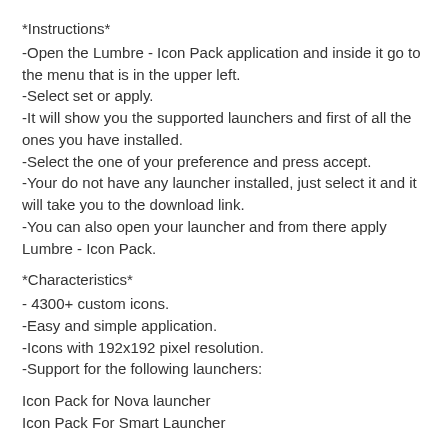*Instructions*
-Open the Lumbre - Icon Pack application and inside it go to the menu that is in the upper left.
-Select set or apply.
-It will show you the supported launchers and first of all the ones you have installed.
-Select the one of your preference and press accept.
-Your do not have any launcher installed, just select it and it will take you to the download link.
-You can also open your launcher and from there apply Lumbre - Icon Pack.
*Characteristics*
- 4300+ custom icons.
-Easy and simple application.
-Icons with 192x192 pixel resolution.
-Support for the following launchers:
Icon Pack for Nova launcher
Icon Pack For Smart Launcher